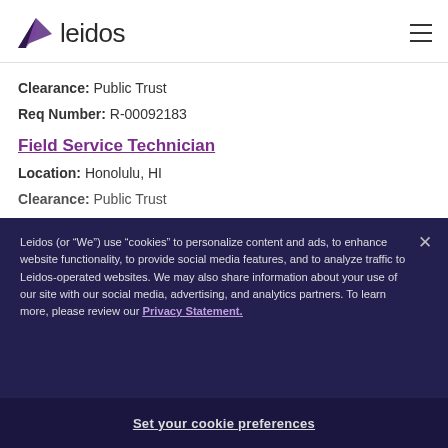[Figure (logo): Leidos company logo with purple triangle/arrow shape and 'leidos' wordmark in dark gray]
Clearance: Public Trust
Req Number: R-00092183
Field Service Technician
Location: Honolulu, HI
Clearance: Public Trust (partial, overlapped)
Leidos (or "We") use "cookies" to personalize content and ads, to enhance website functionality, to provide social media features, and to analyze traffic to Leidos-operated websites. We may also share information about your use of our site with our social media, advertising, and analytics partners. To learn more, please review our Privacy Statement.
Set your cookie preferences